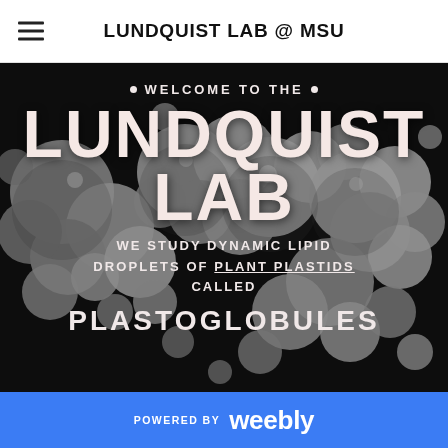LUNDQUIST LAB @ MSU
[Figure (photo): Black and white scanning electron microscopy image of round lipid droplet-like structures (plastoglobules) clustered together against a dark background]
• WELCOME TO THE • LUNDQUIST LAB
WE STUDY DYNAMIC LIPID DROPLETS OF PLANT PLASTIDS CALLED
PLASTOGLOBULES
POWERED BY weebly